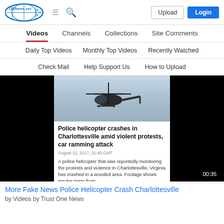153News.net — Upload | Login
Videos | Channels | Collections | Site Comments
Daily Top Videos | Monthly Top Videos | Recently Watched
Check Mail | Help Support Us | How to Upload
[Figure (screenshot): Video thumbnail showing a police helicopter in a blue sky above a news article overlay. The article is titled 'Police helicopter crashes in Charlottesville amid violent protests, car ramming attack', dated August 12, 2017, 21:48 GMT, with a description beginning 'A police helicopter that was reportedly monitoring the protests and violence in Charlottesville, Virginia has crashed in a wooded area. Footage shows smoke rising from'. A timestamp of 00:35 is shown in the lower right corner.]
More Fake News Police Helicopter Crash Charlottesville
by Videos by Trust One News